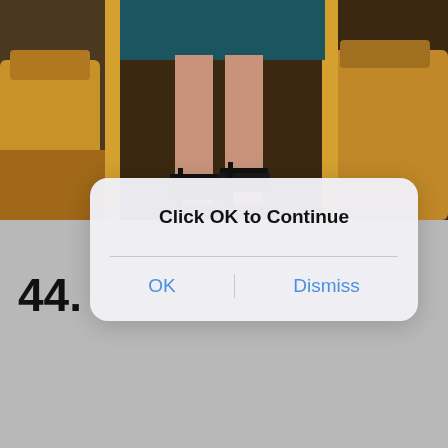[Figure (photo): Photo of a person's legs wearing black strappy high-heel sandals, standing in what appears to be an indoor venue with golden/amber chairs or furniture in the background.]
44.
[Figure (screenshot): iOS-style dialog box overlay with title 'Click OK to Continue' and two buttons: 'OK' and 'Dismiss']